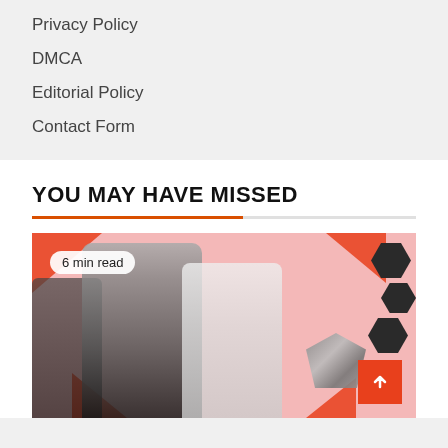Privacy Policy
DMCA
Editorial Policy
Contact Form
YOU MAY HAVE MISSED
[Figure (photo): Article thumbnail showing two women in hijabs in grayscale on a pink background with orange geometric shapes and hexagon patterns. Shows '6 min read' badge. Contains a scroll-to-top orange button.]